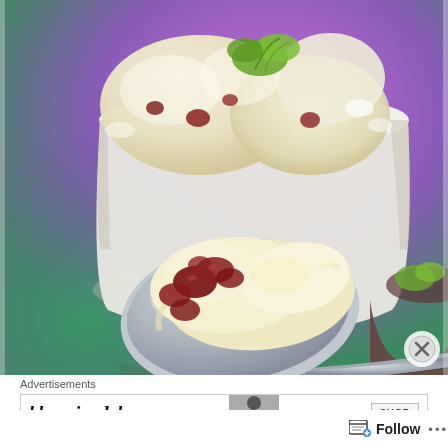[Figure (photo): Close-up food photo of ice cream in a white cup with strawberry pieces and green herb garnish, on a purple-to-green gradient background. In the foreground, a metal spoon holds a large scoop of creamy ice cream with dark red strawberry chunks.]
Advertisements
[Figure (screenshot): Bloomingdale's advertisement banner with logo text, a person image, and SHOP button.]